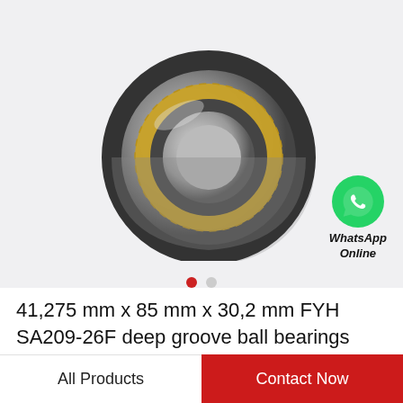[Figure (photo): A cylindrical roller bearing with a brass/gold-colored cage, metallic gray outer and inner rings, viewed at a slight angle showing depth. Product photo on light gray background.]
[Figure (logo): WhatsApp green circle icon with white phone handset, labeled 'WhatsApp Online' in bold italic text below]
41,275 mm x 85 mm x 30,2 mm FYH SA209-26F deep groove ball bearings
All Products
Contact Now